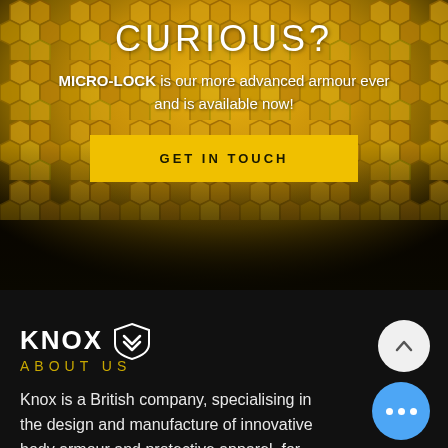[Figure (photo): Yellow interlocking armour pieces forming a 3D textured surface, serving as hero background]
CURIOUS?
MICRO-LOCK is our more advanced armour ever and is available now!
GET IN TOUCH
[Figure (logo): KNOX logo with shield/chevron icon in white on dark background]
ABOUT US
Knox is a British company, specialising in the design and manufacture of innovative body armour and protective apparel, for